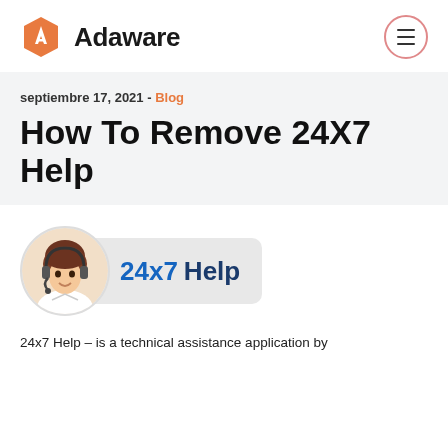Adaware
septiembre 17, 2021 - Blog
How To Remove 24X7 Help
[Figure (screenshot): 24x7 Help application logo showing a customer support agent cartoon with headset and text '24x7 Help' in blue and dark blue on a light gray rounded rectangle background.]
24x7 Help – is a technical assistance application by